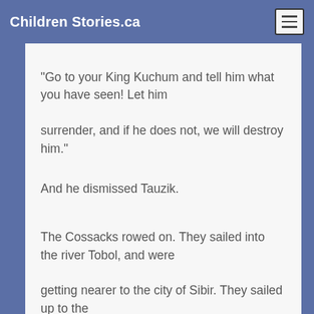Children Stories.ca
"Go to your King Kuchum and tell him what you have seen! Let him surrender, and if he does not, we will destroy him."
And he dismissed Tauzik.
The Cossacks rowed on. They sailed into the river Tobol, and were getting nearer to the city of Sibir. They sailed up to the